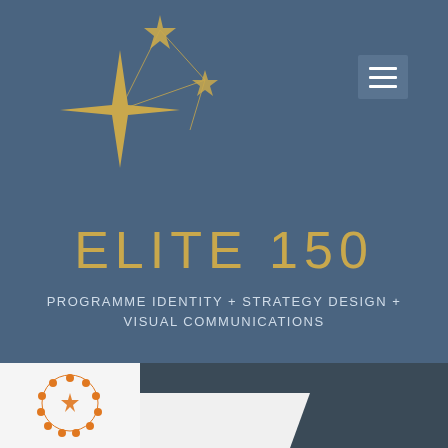[Figure (logo): Gold star/constellation logo with two four-pointed stars connected by thin lines forming a network shape]
[Figure (illustration): Hamburger menu button — three horizontal white bars on a dark blue-grey rectangle background]
ELITE 150
PROGRAMME IDENTITY + STRATEGY DESIGN + VISUAL COMMUNICATIONS
[Figure (illustration): Bottom section showing a white card with an orange circular logo/icon and a dark grey strip with a white diagonal element]